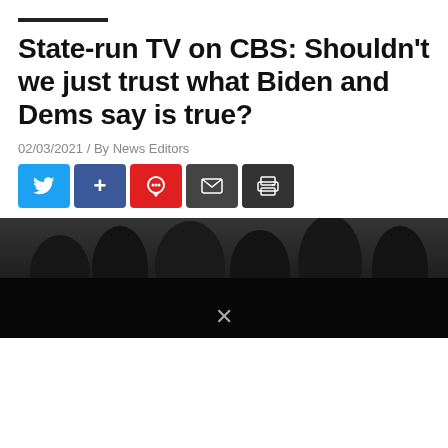State-run TV on CBS: Shouldn't we just trust what Biden and Dems say is true?
02/03/2021 / By News Editors
[Figure (screenshot): Social sharing buttons: Twitter (blue), Plus/Facebook (blue), Comment (red), Mail (dark gray), Print (dark gray)]
[Figure (photo): Dark photo of a crowd, partially obscured by a cookie consent popup overlay]
BY CONTINUING TO BROWSE OUR SITE YOU AGREE TO OUR USE OF COOKIES AND OUR .
Enter Your Email Address